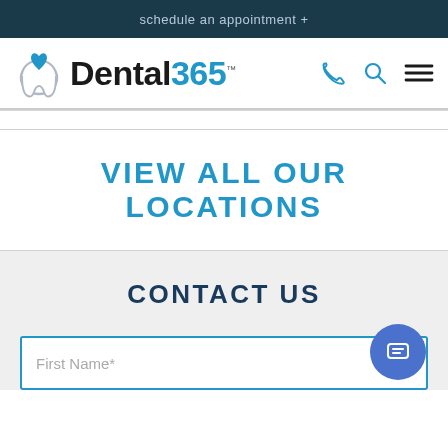schedule an appointment +
[Figure (logo): Dental365 logo with tooth and heart icon]
VIEW ALL OUR LOCATIONS
CONTACT US
First Name*